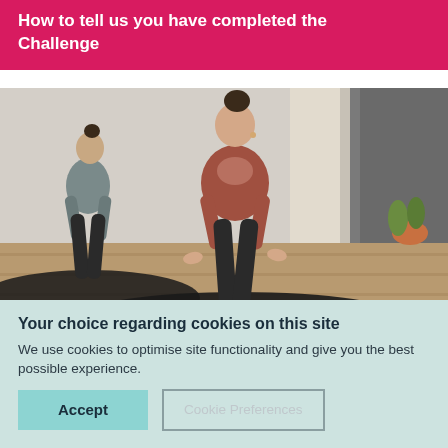How to tell us you have completed the Challenge
[Figure (photo): Two women doing yoga cobra pose on black mats in a bright studio. The woman in the foreground is wearing a rust/mauve long-sleeve top and dark trousers; the woman behind is in a grey sleeveless top and dark leggings.]
Your choice regarding cookies on this site
We use cookies to optimise site functionality and give you the best possible experience.
Accept
Cookie Preferences